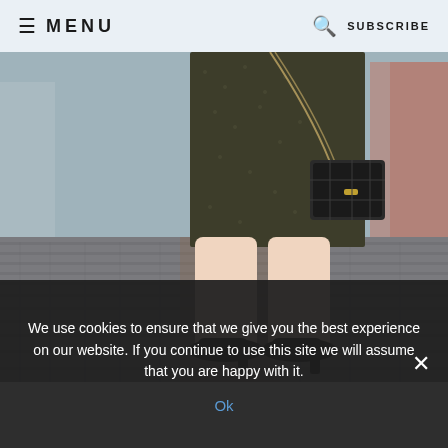≡ MENU   🔍 SUBSCRIBE
[Figure (photo): Lower body of a woman walking on a brick-paved street, wearing a dark patterned skirt, carrying a black chain-strap handbag, and wearing black high-heel pumps.]
We use cookies to ensure that we give you the best experience on our website. If you continue to use this site we will assume that you are happy with it.
Ok